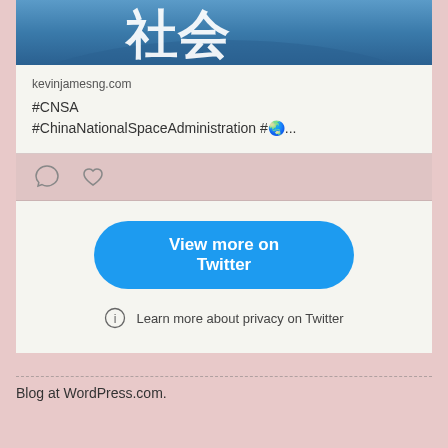[Figure (photo): Partial view of a Twitter/social media card image showing Chinese characters on a blue background (space/Earth imagery)]
kevinjamesng.com
#CNSA #ChinaNationalSpaceAdministration #🌏...
[Figure (other): Social media action icons: comment bubble and heart/like icon]
View more on Twitter
Learn more about privacy on Twitter
Blog at WordPress.com.